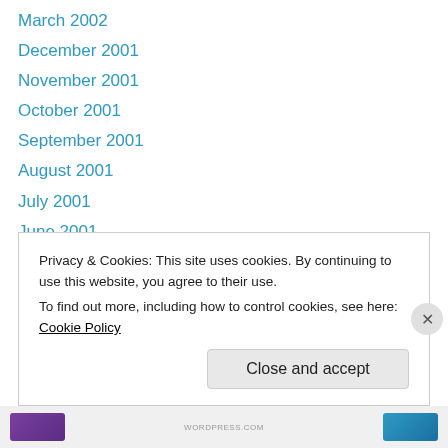March 2002
December 2001
November 2001
October 2001
September 2001
August 2001
July 2001
June 2001
May 2001
April 2001
September 2000
May 2000
April 2000
Privacy & Cookies: This site uses cookies. By continuing to use this website, you agree to their use.
To find out more, including how to control cookies, see here: Cookie Policy
Close and accept